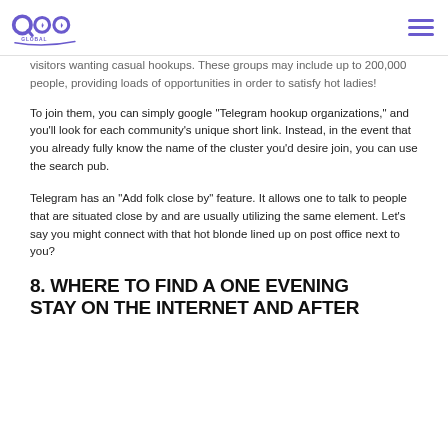QOO Global logo and navigation menu
visitors wanting casual hookups. These groups may include up to 200,000 people, providing loads of opportunities in order to satisfy hot ladies!
To join them, you can simply google "Telegram hookup organizations," and you'll look for each community's unique short link. Instead, in the event that you already fully know the name of the cluster you'd desire join, you can use the search pub.
Telegram has an "Add folk close by" feature. It allows one to talk to people that are situated close by and are usually utilizing the same element. Let's say you might connect with that hot blonde lined up on post office next to you?
8. WHERE TO FIND A ONE EVENING STAY ON THE INTERNET AND AFTER